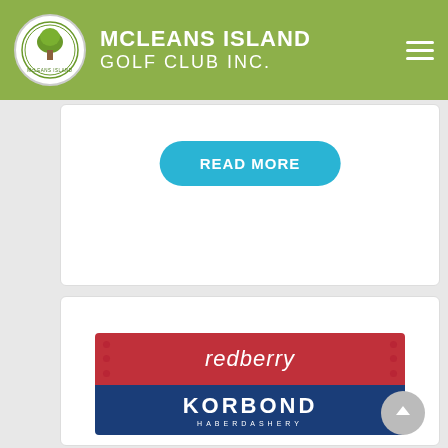MCLEANS ISLAND GOLF CLUB INC.
READ MORE
[Figure (logo): Redberry brand banner (red background with white italic text 'redberry') stacked above Korbond Haberdashery banner (dark blue background with bold white text 'KORBOND HABERDASHERY')]
Available in supermarkets